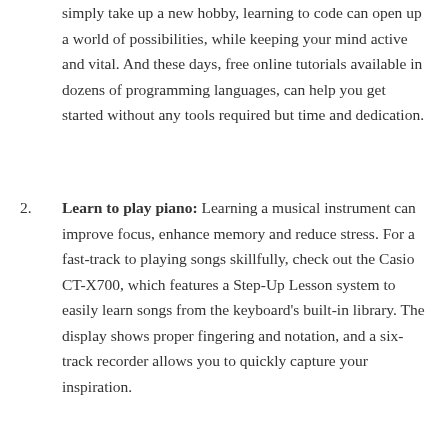simply take up a new hobby, learning to code can open up a world of possibilities, while keeping your mind active and vital. And these days, free online tutorials available in dozens of programming languages, can help you get started without any tools required but time and dedication.
2. Learn to play piano: Learning a musical instrument can improve focus, enhance memory and reduce stress. For a fast-track to playing songs skillfully, check out the Casio CT-X700, which features a Step-Up Lesson system to easily learn songs from the keyboard's built-in library. The display shows proper fingering and notation, and a six-track recorder allows you to quickly capture your inspiration.